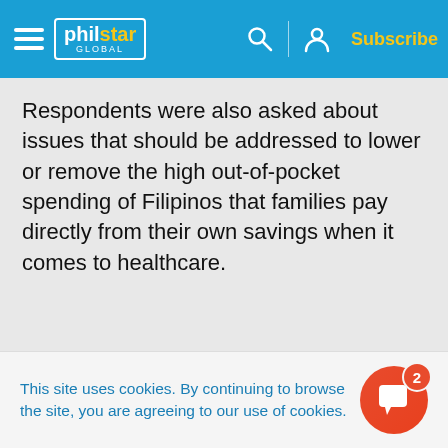philstar GLOBAL — Subscribe
Respondents were also asked about issues that should be addressed to lower or remove the high out-of-pocket spending of Filipinos that families pay directly from their own savings when it comes to healthcare.
This site uses cookies. By continuing to browse the site, you are agreeing to our use of cookies.